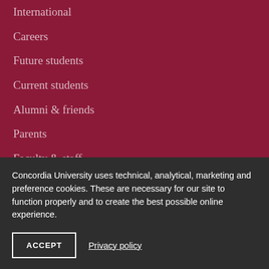International
Careers
Future students
Current students
Alumni & friends
Parents
Faculty & staff
Media
Sir George Williams Campus
1455 De Maisonneuve Blvd W...
Concordia University uses technical, analytical, marketing and preference cookies. These are necessary for our site to function properly and to create the best possible online experience.
ACCEPT
Privacy policy